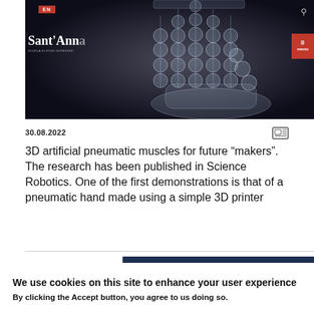[Figure (photo): A transparent 3D-printed pneumatic robotic hand with lattice-like bubble/sphere structures on the fingers and palm, displayed against a dark background. A website header with 'Sant'Anna' text and red EN badge and menu button is visible overlaid on the image.]
30.08.2022
3D artificial pneumatic muscles for future “makers”. The research has been published in Science Robotics. One of the first demonstrations is that of a pneumatic hand made using a simple 3D printer
We use cookies on this site to enhance your user experience
By clicking the Accept button, you agree to us doing so.